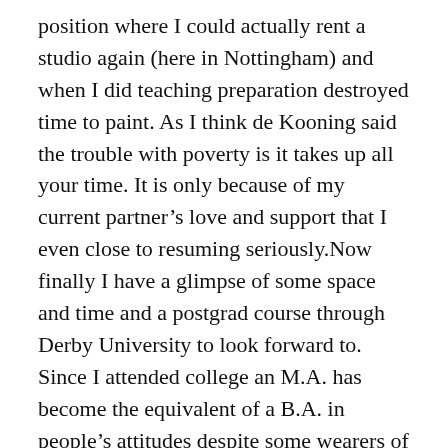position where I could actually rent a studio again (here in Nottingham) and when I did teaching preparation destroyed time to paint. As I think de Kooning said the trouble with poverty is it takes up all your time. It is only because of my current partner's love and support that I even close to resuming seriously.Now finally I have a glimpse of some space and time and a postgrad course through Derby University to look forward to. Since I attended college an M.A. has become the equivalent of a B.A. in people's attitudes despite some wearers of that title being less able than they think.Also I have started to find a group of excellent younger painters here who despite the system are keeping the flag flying. I have been virulent in damnation of certain aspects of the art world in those 20 years both from personal angle and because I genuinely appalled at how de-skilled the art schools have become. Even these colleges are now realising that something has